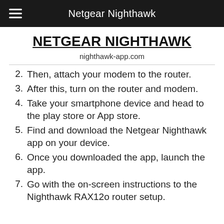Netgear Nighthawk
NETGEAR NIGHTHAWK
nighthawk-app.com
2. Then, attach your modem to the router.
3. After this, turn on the router and modem.
4. Take your smartphone device and head to the play store or App store.
5. Find and download the Netgear Nighthawk app on your device.
6. Once you downloaded the app, launch the app.
7. Go with the on-screen instructions to the Nighthawk RAX12o router setup.